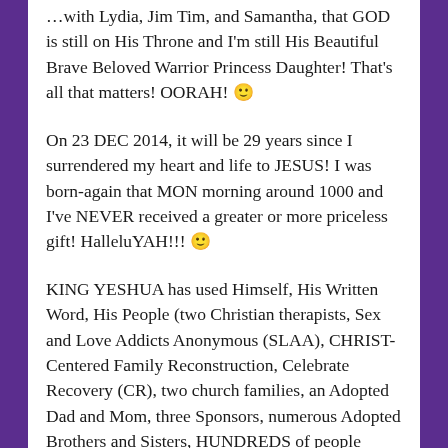…with Lydia, Jim Tim, and Samantha, that GOD is still on His Throne and I'm still His Beautiful Brave Beloved Warrior Princess Daughter! That's all that matters! OORAH! 🙂
On 23 DEC 2014, it will be 29 years since I surrendered my heart and life to JESUS! I was born-again that MON morning around 1000 and I've NEVER received a greater or more priceless gift! HalleluYAH!!! 🙂
KING YESHUA has used Himself, His Written Word, His People (two Christian therapists, Sex and Love Addicts Anonymous (SLAA), CHRIST-Centered Family Reconstruction, Celebrate Recovery (CR), two church families, an Adopted Dad and Mom, three Sponsors, numerous Adopted Brothers and Sisters, HUNDREDS of people through books and in-person), and HIS Creation to enCOURAGE, correct, protect, comfort, direct, exhort, and strengthen me since 1 SEP 1995.